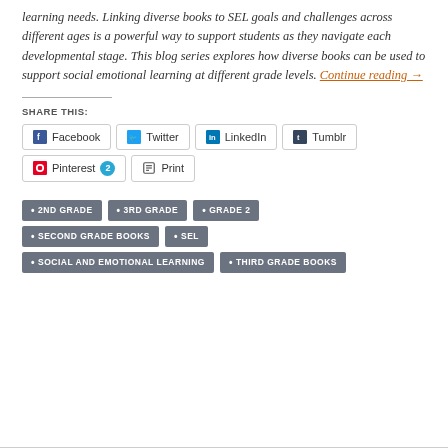learning needs. Linking diverse books to SEL goals and challenges across different ages is a powerful way to support students as they navigate each developmental stage. This blog series explores how diverse books can be used to support social emotional learning at different grade levels. Continue reading →
SHARE THIS:
Facebook
Twitter
LinkedIn
Tumblr
Pinterest 2
Print
2ND GRADE
3RD GRADE
GRADE 2
SECOND GRADE BOOKS
SEL
SOCIAL AND EMOTIONAL LEARNING
THIRD GRADE BOOKS